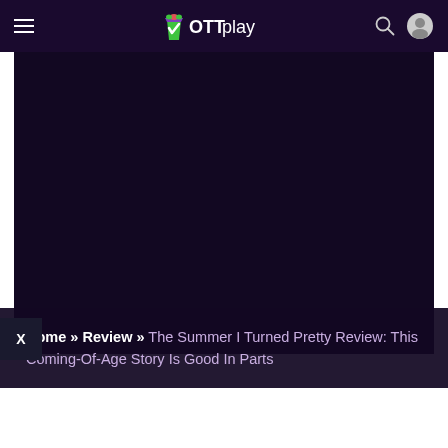[Figure (screenshot): OTTplay website header with hamburger menu on left, OTTplay logo in center, search and user profile icons on right, all on dark purple background]
[Figure (photo): Dark/black hero image area on deep purple-black background]
Home » Review » The Summer I Turned Pretty Review: This Coming-Of-Age Story Is Good In Parts